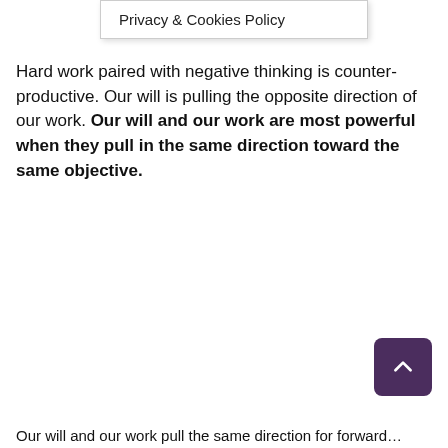Privacy & Cookies Policy
Hard work paired with negative thinking is counter-productive. Our will is pulling the opposite direction of our work. Our will and our work are most powerful when they pull in the same direction toward the same objective.
Our will and our work pull the same direction for forward...